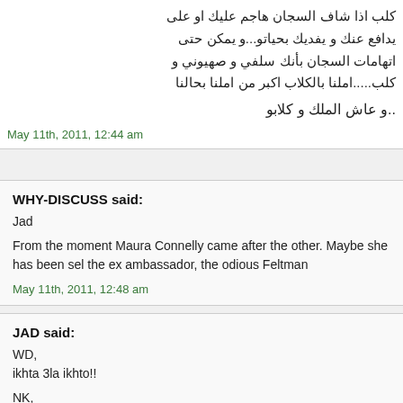...يشتغ كليهول اذا قانو خانة
كلب اذا شاف السجان هاجم عليك او على يدافع عنك و يفديك بحياتو...و يمكن حتى اتهامات السجان بأنك سلفي و صهيوني و كلب.....املنا بالكلاب اكبر من املنا بحالنا
و عاش الملك و كلابو..
May 11th, 2011, 12:44 am
WHY-DISCUSS said:
Jad
From the moment Maura Connelly came after the other. Maybe she has been sel the ex ambassador, the odious Feltman
May 11th, 2011, 12:48 am
JAD said:
WD,
ikhta 3la ikhto!!
NK,
Your selection of articles today remind m animals, so if you really like to be called would appreciate to be called an animal. moment you call them dogs, chickens, o intelligence!